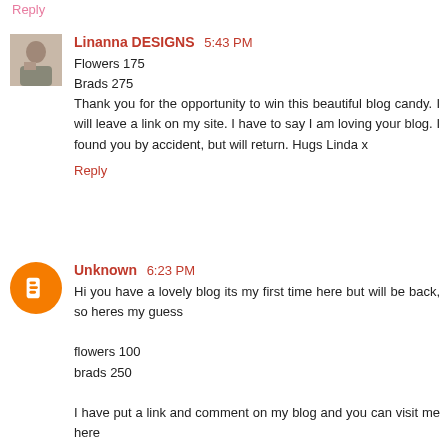Reply (partial, pink, top)
Linanna DESIGNS  5:43 PM
Flowers 175
Brads 275
Thank you for the opportunity to win this beautiful blog candy. I will leave a link on my site. I have to say I am loving your blog. I found you by accident, but will return. Hugs Linda x
Reply
Unknown  6:23 PM
Hi you have a lovely blog its my first time here but will be back, so heres my guess

flowers 100
brads 250

I have put a link and comment on my blog and you can visit me here